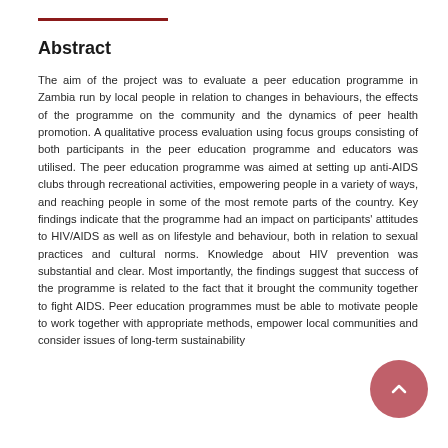Abstract
The aim of the project was to evaluate a peer education programme in Zambia run by local people in relation to changes in behaviours, the effects of the programme on the community and the dynamics of peer health promotion. A qualitative process evaluation using focus groups consisting of both participants in the peer education programme and educators was utilised. The peer education programme was aimed at setting up anti-AIDS clubs through recreational activities, empowering people in a variety of ways, and reaching people in some of the most remote parts of the country. Key findings indicate that the programme had an impact on participants' attitudes to HIV/AIDS as well as on lifestyle and behaviour, both in relation to sexual practices and cultural norms. Knowledge about HIV prevention was substantial and clear. Most importantly, the findings suggest that success of the programme is related to the fact that it brought the community together to fight AIDS. Peer education programmes must be able to motivate people to work together with appropriate methods, empower local communities and consider issues of long-term sustainability